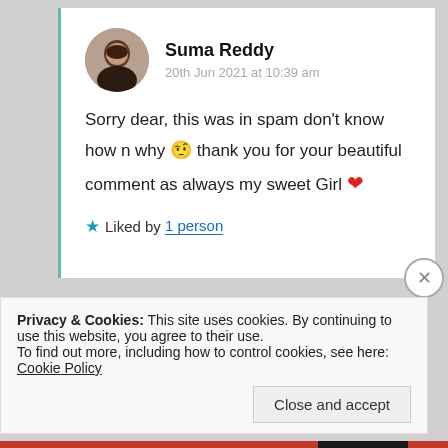Suma Reddy
20th Jun 2021 at 10:39 am
Sorry dear, this was in spam don't know how n why 🤨 thank you for your beautiful comment as always my sweet Girl ❤
★ Liked by 1 person
Privacy & Cookies: This site uses cookies. By continuing to use this website, you agree to their use.
To find out more, including how to control cookies, see here: Cookie Policy
Close and accept